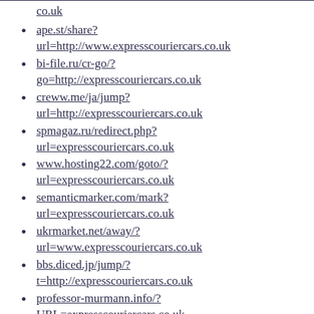co.uk
ape.st/share?
url=http://www.expresscouriercars.co.uk
bi-file.ru/cr-go/?
go=http://expresscouriercars.co.uk
creww.me/ja/jump?
url=http://expresscouriercars.co.uk
spmagaz.ru/redirect.php?
url=expresscouriercars.co.uk
www.hosting22.com/goto/?
url=expresscouriercars.co.uk
semanticmarker.com/mark?
url=expresscouriercars.co.uk
ukrmarket.net/away/?
url=www.expresscouriercars.co.uk
bbs.diced.jp/jump/?
t=http://expresscouriercars.co.uk
professor-murmann.info/?
URL=expresscouriercars.co.uk